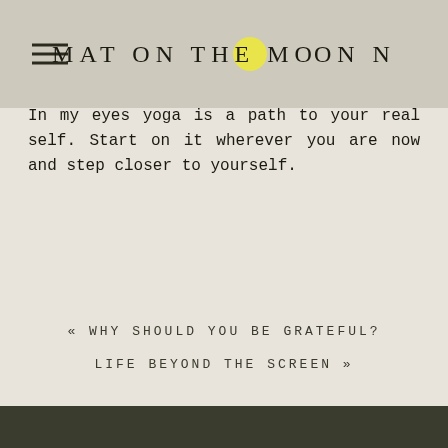MAT ON THE MOON
relax or meditate on. If you are looking for a complete lifestyle change that read vedic literature or the Yoga-sutra.
In my eyes yoga is a path to your real self. Start on it wherever you are now and step closer to yourself.
« WHY SHOULD YOU BE GRATEFUL?
LIFE BEYOND THE SCREEN »